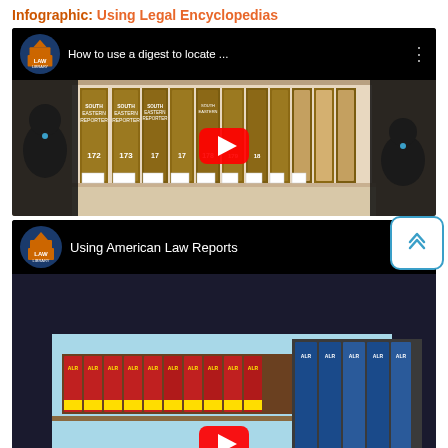Infographic: Using Legal Encyclopedias
[Figure (screenshot): YouTube video thumbnail showing 'How to use a digest to locate ...' with Law Library logo and image of South Eastern Reporter volumes on a shelf, with black dog silhouettes on the sides. A red YouTube play button is visible in the center.]
[Figure (screenshot): YouTube video thumbnail showing 'Using American Law Reports' with Law Library logo. The thumbnail shows ALR volumes on shelves. A red YouTube play button is partially visible at the bottom.]